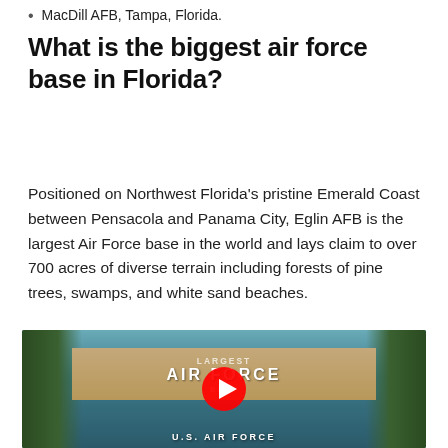MacDill AFB, Tampa, Florida.
What is the biggest air force base in Florida?
Positioned on Northwest Florida's pristine Emerald Coast between Pensacola and Panama City, Eglin AFB is the largest Air Force base in the world and lays claim to over 700 acres of diverse terrain including forests of pine trees, swamps, and white sand beaches.
[Figure (screenshot): YouTube video thumbnail showing an Air Force base sign reading 'AIR FORCE' with trees in the background and 'U.S. AIR FORCE' at the bottom, with a YouTube play button overlay.]